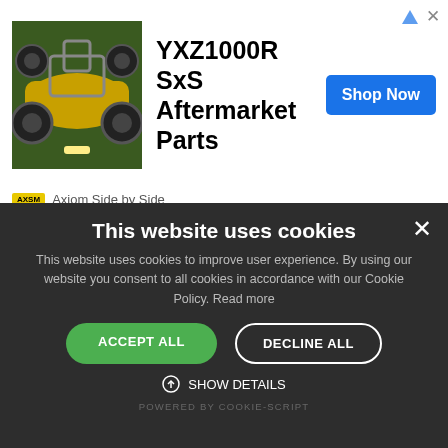[Figure (screenshot): Advertisement banner for YXZ1000R SxS Aftermarket Parts by Axiom Side by Side, showing an ATV/UTV vehicle image on the left, bold product title text in the center, a blue 'Shop Now' button on the right, and the Axiom Side by Side branding at the bottom left.]
7506705007
[Figure (screenshot): Cookie consent overlay on a dark background with title 'This website uses cookies', body text, Accept All (green), Decline All (white outline) buttons, Show Details option, and Powered by Cookie-Script footer.]
This website uses cookies
This website uses cookies to improve user experience. By using our website you consent to all cookies in accordance with our Cookie Policy. Read more
ACCEPT ALL
DECLINE ALL
SHOW DETAILS
POWERED BY COOKIE-SCRIPT